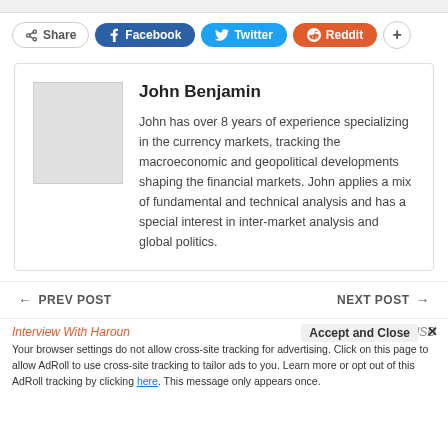[Figure (other): Social share buttons: Share, Facebook, Twitter, Reddit, plus button]
John Benjamin
John has over 8 years of experience specializing in the currency markets, tracking the macroeconomic and geopolitical developments shaping the financial markets. John applies a mix of fundamental and technical analysis and has a special interest in inter-market analysis and global politics.
← PREV POST    NEXT POST →
Interview With Haroun    EURUSD    Accept and Close ×
Your browser settings do not allow cross-site tracking for advertising. Click on this page to allow AdRoll to use cross-site tracking to tailor ads to you. Learn more or opt out of this AdRoll tracking by clicking here. This message only appears once.